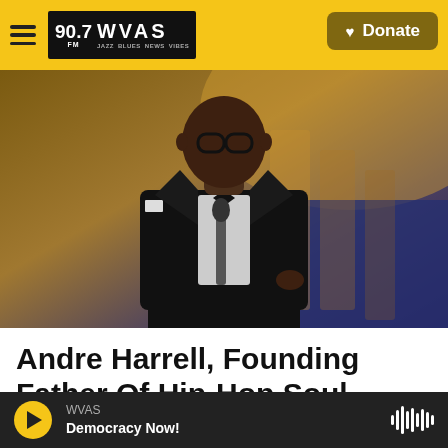90.7 FM WVAS | Jazz Blues News Vibes | Donate
[Figure (photo): A man in a black tuxedo with bow tie and glasses standing at a podium/microphone on a stage with golden/blue lighting in the background.]
Andre Harrell, Founding Father Of Hip-Hop Soul, Dead At 59
Kiana Fitzgerald · May 9, 2020
WVAS | Democracy Now!